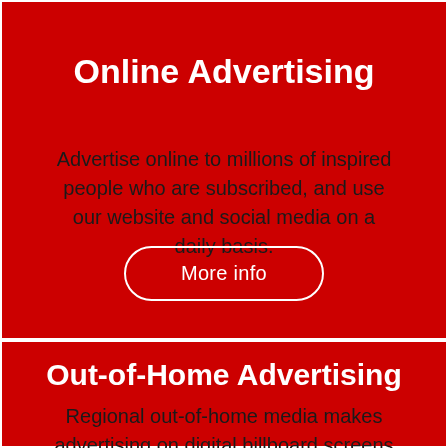Online Advertising
Advertise online to millions of inspired people who are subscribed, and use our website and social media on a daily basis.
More info
Out-of-Home Advertising
Regional out-of-home media makes advertising on digital billboard screens